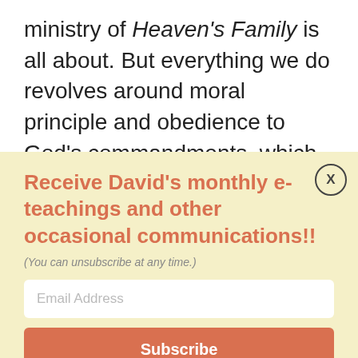ministry of Heaven's Family is all about. But everything we do revolves around moral principle and obedience to God's commandments, which is why we care for orphans and widows and so many others
Receive David's monthly e-teachings and other occasional communications!!
(You can unsubscribe at any time.)
Email Address
Subscribe